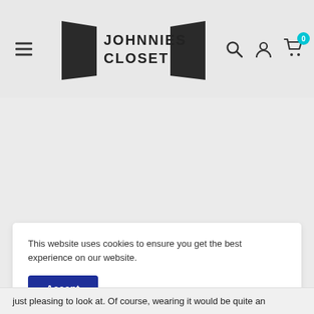[Figure (logo): Johnnies Closet logo with two door silhouettes and bold text]
This website uses cookies to ensure you get the best experience on our website.
Accept
just pleasing to look at. Of course, wearing it would be quite an